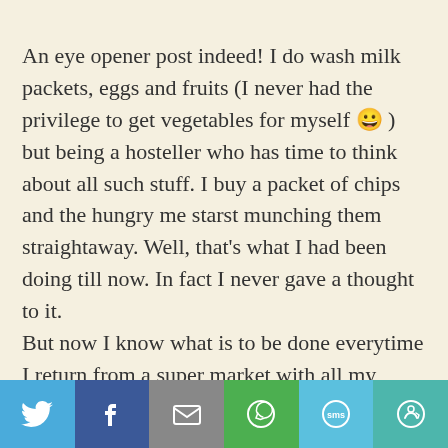An eye opener post indeed! I do wash milk packets, eggs and fruits (I never had the privilege to get vegetables for myself 😀 ) but being a hosteller who has time to think about all such stuff. I buy a packet of chips and the hungry me starst munching them straightaway. Well, that's what I had been doing till now. In fact I never gave a thought to it.
But now I know what is to be done everytime I return from a super market with all my eating stock and my monthly grocery mostly contains chips, biscuits, wafers and everything unhealthy u can say. I really have to thank u
[Figure (infographic): Social sharing bar with Twitter, Facebook, Email, WhatsApp, SMS, and More buttons]